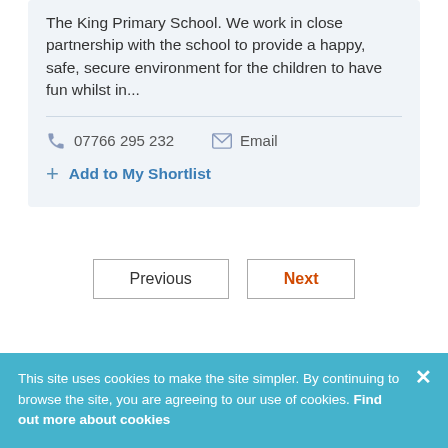The King Primary School. We work in close partnership with the school to provide a happy, safe, secure environment for the children to have fun whilst in...
07766 295 232   Email
+ Add to My Shortlist
Previous   Next
This site uses cookies to make the site simpler. By continuing to browse the site, you are agreeing to our use of cookies. Find out more about cookies